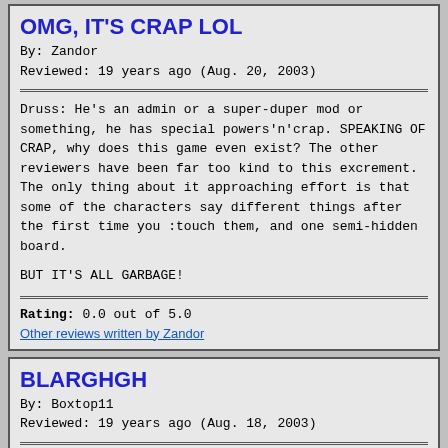OMG, IT'S CRAP LOL
By: Zandor
Reviewed: 19 years ago (Aug. 20, 2003)
Druss: He's an admin or a super-duper mod or something, he has special powers'n'crap. SPEAKING OF CRAP, why does this game even exist? The other reviewers have been far too kind to this excrement. The only thing about it approaching effort is that some of the characters say different things after the first time you :touch them, and one semi-hidden board.

BUT IT'S ALL GARBAGE!
Rating: 0.0 out of 5.0
Other reviews written by Zandor
BLARGHGH
By: Boxtop11
Reviewed: 19 years ago (Aug. 18, 2003)
This game was short and stupid. We have too many people going around trying to impersinate Chickenwire (including me, but I can do better than this.)